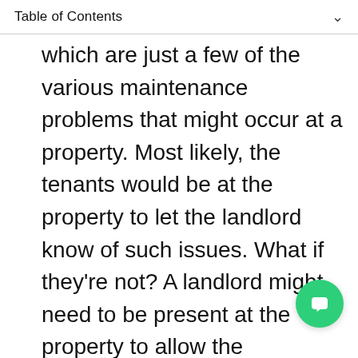Table of Contents
which are just a few of the various maintenance problems that might occur at a property. Most likely, the tenants would be at the property to let the landlord know of such issues. What if they're not? A landlord might need to be present at the property to allow the repairman in, only to find out that the property locks have changed, resulting in a waste of everyone's time and significant damage that could've been avoi
Tenants are not allowed make